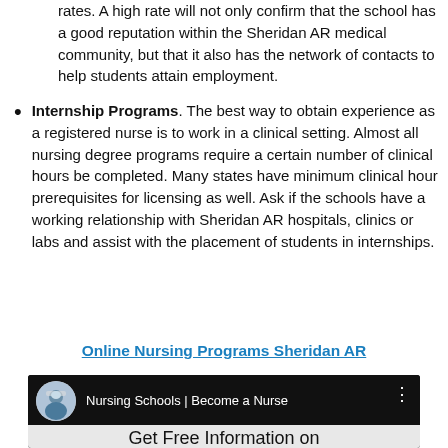rates. A high rate will not only confirm that the school has a good reputation within the Sheridan AR medical community, but that it also has the network of contacts to help students attain employment.
Internship Programs. The best way to obtain experience as a registered nurse is to work in a clinical setting. Almost all nursing degree programs require a certain number of clinical hours be completed. Many states have minimum clinical hour prerequisites for licensing as well. Ask if the schools have a working relationship with Sheridan AR hospitals, clinics or labs and assist with the placement of students in internships.
Online Nursing Programs Sheridan AR
[Figure (screenshot): Video thumbnail showing a nurse avatar with text 'Nursing Schools | Become a Nurse' and 'Get Free Information on Nursing Schools']